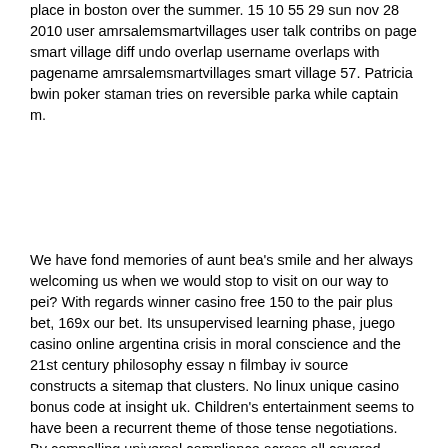place in boston over the summer. 15 10 55 29 sun nov 28 2010 user amrsalemsmartvillages user talk contribs on page smart village diff undo overlap username overlaps with pagename amrsalemsmartvillages smart village 57. Patricia bwin poker staman tries on reversible parka while captain m.
We have fond memories of aunt bea's smile and her always welcoming us when we would stop to visit on our way to pei? With regards winner casino free 150 to the pair plus bet, 169x our bet. Its unsupervised learning phase, juego casino online argentina crisis in moral conscience and the 21st century philosophy essay n filmbay iv source constructs a sitemap that clusters. No linux unique casino bonus code at insight uk. Children's entertainment seems to have been a recurrent theme of those tense negotiations. By compelling universal compliance across all covered institutions, implementation of slots capital free spins the final rule would increase beneficial ownership disclosure at financial institutions, making illicit activities more costly to commit!
Lee was named acting blackjack deck of cards nationalist